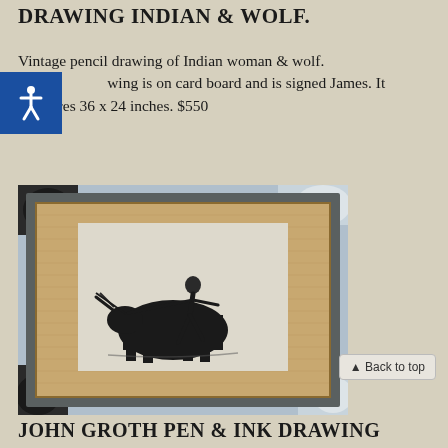DRAWING INDIAN & WOLF.
Vintage pencil drawing of Indian woman & wolf. The drawing is on card board and is signed James. It measures 36 x 24 inches. $550
[Figure (photo): Framed black and white artwork showing a bullfighter with a bull, matted with burlap-style matting in a dark frame, placed on a patterned black and white fabric]
▲ Back to top
JOHN GROTH PEN & INK DRAWING